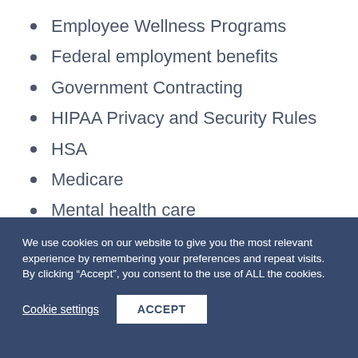Employee Wellness Programs
Federal employment benefits
Government Contracting
HIPAA Privacy and Security Rules
HSA
Medicare
Mental health care
NCQA
We use cookies on our website to give you the most relevant experience by remembering your preferences and repeat visits. By clicking “Accept”, you consent to the use of ALL the cookies.
Cookie settings
ACCEPT